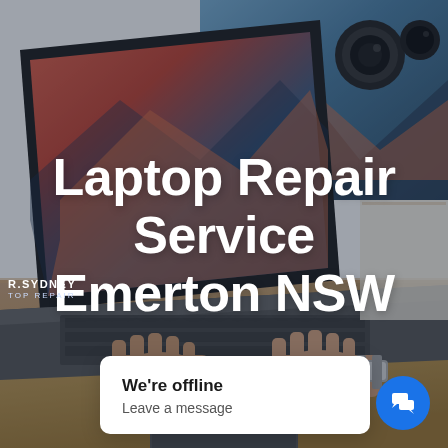[Figure (photo): Background photo of a person's hands typing on a MacBook laptop on a wooden desk, with camera lenses and accessories visible in the background. A dark semi-transparent overlay covers the image. A laptop repair service logo is visible in the lower-left. The image is used as a hero/banner image for a laptop repair service website.]
Laptop Repair Service Emerton NSW
We're offline
Leave a message